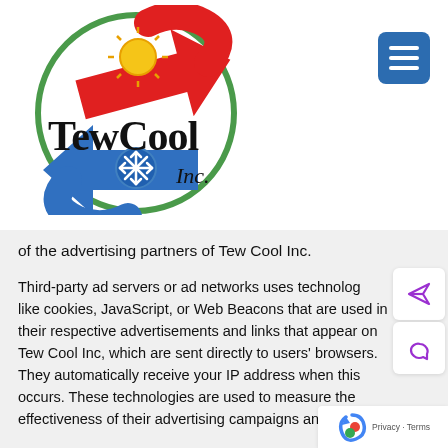[Figure (logo): TewCool Inc. logo with red and blue circular arrows, sun and snowflake icons, and company name in serif font]
of the advertising partners of Tew Cool Inc.
Third-party ad servers or ad networks uses technologies like cookies, JavaScript, or Web Beacons that are used in their respective advertisements and links that appear on Tew Cool Inc, which are sent directly to users' browsers. They automatically receive your IP address when this occurs. These technologies are used to measure the effectiveness of their advertising campaigns and/or to